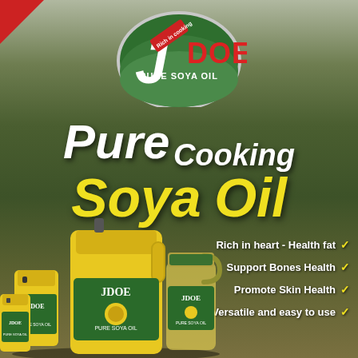[Figure (logo): JDOE Pure Soya Oil logo - green semicircle with white J and red DOE text, with field background]
Pure Cooking Soya Oil
Rich in heart - Health fat ✓
Support Bones Health ✓
Promote Skin Health ✓
Versatile and easy to use ✓
[Figure (photo): Three JDOE Pure Soya Oil containers of different sizes - large yellow jerry can in center, smaller yellow container on left, clear bottle with yellow oil on right]